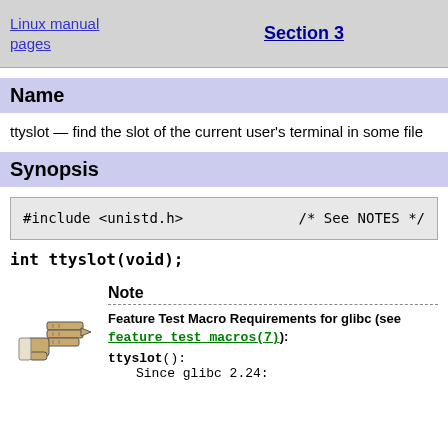Linux manual pages  Section 3
Name
ttyslot — find the slot of the current user's terminal in some file
Synopsis
#include <unistd.h>        /* See NOTES */
int ttyslot(void);
Note
Feature Test Macro Requirements for glibc (see feature_test_macros(7)):
ttyslot():
    Since glibc 2.24: